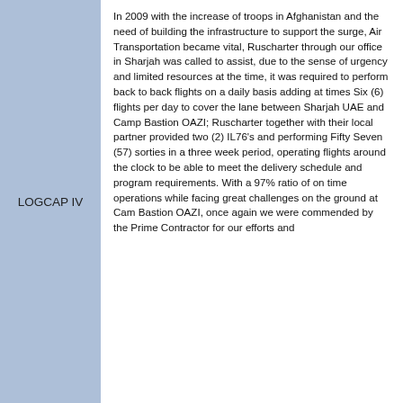LOGCAP IV
In 2009 with the increase of troops in Afghanistan and the need of building the infrastructure to support the surge, Air Transportation became vital, Ruscharter through our office in Sharjah was called to assist, due to the sense of urgency and limited resources at the time, it was required to perform back to back flights on a daily basis adding at times Six (6) flights per day to cover the lane between Sharjah UAE and Camp Bastion OAZI; Ruscharter together with their local partner provided two (2) IL76's and performing Fifty Seven (57) sorties in a three week period, operating flights around the clock to be able to meet the delivery schedule and program requirements. With a 97% ratio of on time operations while facing great challenges on the ground at Cam Bastion OAZI, once again we were commended by the Prime Contractor for our efforts and